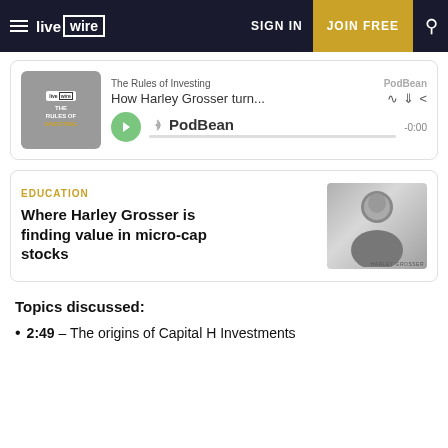live wire  SIGN IN  JOIN FREE
[Figure (screenshot): PodBean podcast player widget showing 'The Rules of Investing' podcast episode 'How Harley Grosser turn...' with play button and progress bar]
[Figure (screenshot): Article card with category 'EDUCATION', title 'Where Harley Grosser is finding value in micro-cap stocks', and a black-and-white headshot photo of Harley Grosser]
Topics discussed:
2:49 – The origins of Capital H Investments